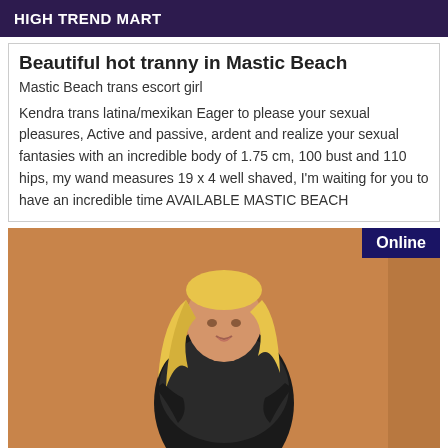HIGH TREND MART
Beautiful hot tranny in Mastic Beach
Mastic Beach trans escort girl
Kendra trans latina/mexikan Eager to please your sexual pleasures, Active and passive, ardent and realize your sexual fantasies with an incredible body of 1.75 cm, 100 bust and 110 hips, my wand measures 19 x 4 well shaved, I'm waiting for you to have an incredible time AVAILABLE MASTIC BEACH
[Figure (photo): A blonde woman in a black outfit posing against an orange/tan background wall. An 'Online' badge appears in the top right corner.]